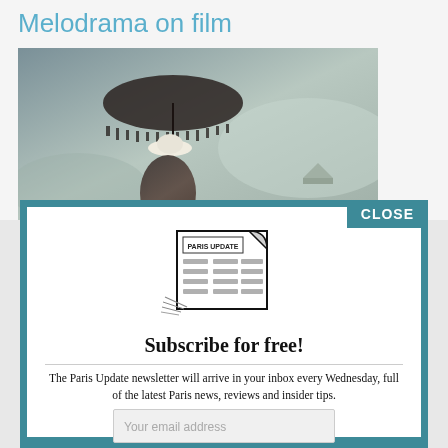Melodrama on film
[Figure (photo): A woman in a period costume holding a dark umbrella/parasol, misty atmospheric scene in sepia tones]
CLOSE
[Figure (illustration): Sketch illustration of a newspaper/newsletter titled PARIS UPDATE with grey content block placeholders and a curled top-right corner]
Subscribe for free!
The Paris Update newsletter will arrive in your inbox every Wednesday, full of the latest Paris news, reviews and insider tips.
Your email address
SIGN UP